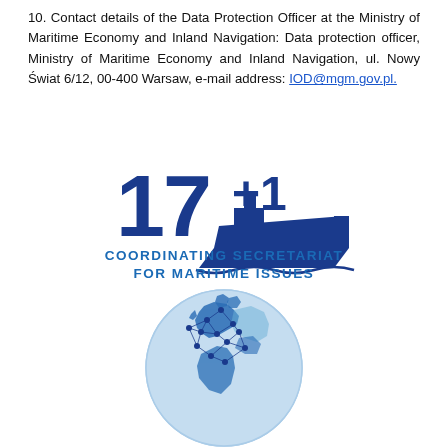10. Contact details of the Data Protection Officer at the Ministry of Maritime Economy and Inland Navigation: Data protection officer, Ministry of Maritime Economy and Inland Navigation, ul. Nowy Świat 6/12, 00-400 Warsaw, e-mail address: IOD@mgm.gov.pl.
[Figure (logo): 17+1 Coordinating Secretariat for Maritime Issues logo — bold blue '17+1' text with a ship silhouette, and the text 'COORDINATING SECRETARIAT FOR MARITIME ISSUES' below in blue capitals.]
[Figure (illustration): Globe illustration showing Europe and surrounding regions with network/polygon overlay lines connecting dots, in light and dark blue tones.]